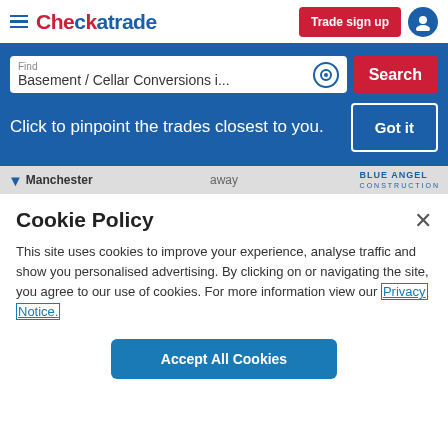[Figure (screenshot): Checkatrade website header with logo, Trade sign up button, and user icon]
[Figure (screenshot): Search bar with 'Basement / Cellar Conversions i...' text and red Search button on blue background]
Click to pinpoint the trades closest to you.
Got it
Manchester  away  BLUE ANGEL CONSTRUCTION
Cookie Policy
This site uses cookies to improve your experience, analyse traffic and show you personalised advertising. By clicking on or navigating the site, you agree to our use of cookies. For more information view our Privacy Notice.
Accept All Cookies